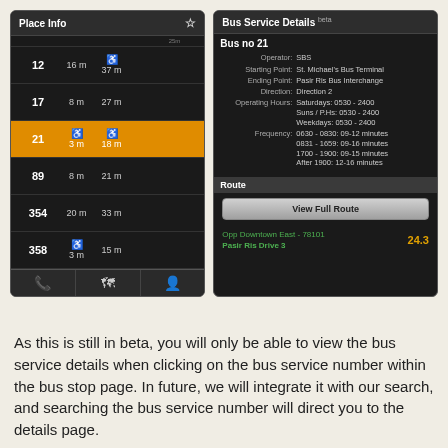[Figure (screenshot): Two mobile app screenshots side by side. Left screenshot shows 'Place Info' screen listing bus numbers 12, 17, 21 (highlighted in orange), 89, 354, 358 with arrival times and wheelchair icons. Right screenshot shows 'Bus Service Details beta' for Bus no 21 with operator SBS, route from St. Michael's Bus Terminal to Pasir Ris Bus Interchange, Direction 2, operating hours, frequency details, and a 'View Full Route' button showing stop 'Opp Downtown East - 78101, Pasir Ris Drive 3' at 24.3.]
As this is still in beta, you will only be able to view the bus service details when clicking on the bus service number within the bus stop page. In future, we will integrate it with our search, and searching the bus service number will direct you to the details page.